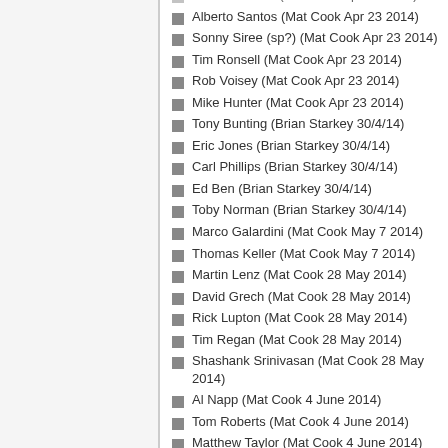Alberto Santos (Mat Cook Apr 23 2014)
Sonny Siree (sp?) (Mat Cook Apr 23 2014)
Tim Ronsell (Mat Cook Apr 23 2014)
Rob Voisey (Mat Cook Apr 23 2014)
Mike Hunter (Mat Cook Apr 23 2014)
Tony Bunting (Brian Starkey 30/4/14)
Eric Jones (Brian Starkey 30/4/14)
Carl Phillips (Brian Starkey 30/4/14)
Ed Ben (Brian Starkey 30/4/14)
Toby Norman (Brian Starkey 30/4/14)
Marco Galardini (Mat Cook May 7 2014)
Thomas Keller (Mat Cook May 7 2014)
Martin Lenz (Mat Cook 28 May 2014)
David Grech (Mat Cook 28 May 2014)
Rick Lupton (Mat Cook 28 May 2014)
Tim Regan (Mat Cook 28 May 2014)
Shashank Srinivasan (Mat Cook 28 May 2014)
Al Napp (Mat Cook 4 June 2014)
Tom Roberts (Mat Cook 4 June 2014)
Matthew Taylor (Mat Cook 4 June 2014)
Milosz Wasilewski (Mat Cook 4 June 2014)